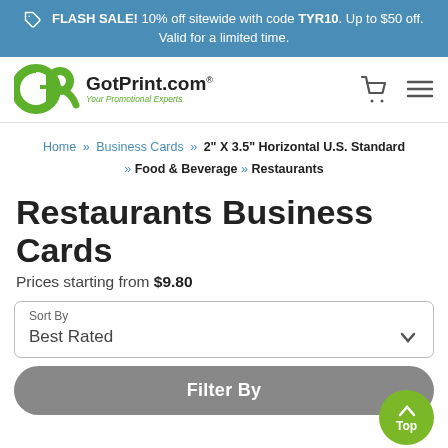FLASH SALE! 10% off sitewide with code TYR10. Up to $50 off. Valid for a limited time.
[Figure (logo): GotPrint.com logo with green GP icon and tagline 'Your Promotional Experts']
Home » Business Cards » 2" X 3.5" Horizontal U.S. Standard » Food & Beverage » Restaurants
Restaurants Business Cards
Prices starting from $9.80
Sort By
Best Rated
Filter By